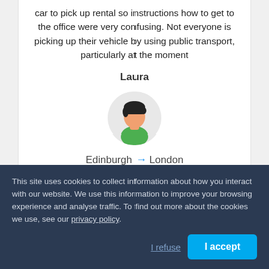car to pick up rental so instructions how to get to the office were very confusing. Not everyone is picking up their vehicle by using public transport, particularly at the moment
Laura
[Figure (illustration): Avatar icon of a person with dark hair wearing a green shirt, on a light grey circular background]
Edinburgh → London
2 years ago
[Figure (other): Five orange star rating icons]
This site uses cookies to collect information about how you interact with our website. We use this information to improve your browsing experience and analyse traffic. To find out more about the cookies we use, see our privacy policy.